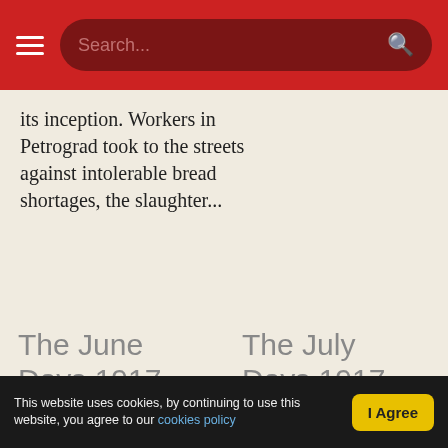Search...
its inception. Workers in Petrograd took to the streets against intolerable bread shortages, the slaughter...
The June Days 1917
This reading guide informs the May-June period of the Revolution...
The July Days 1917
This selection of texts covers the background, events and aftermath...
This website uses cookies, by continuing to use this website, you agree to our cookies policy | I Agree